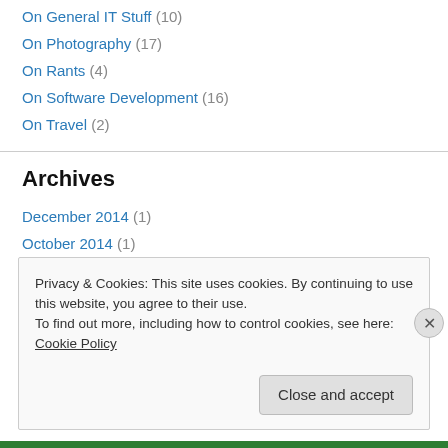On General IT Stuff (10)
On Photography (17)
On Rants (4)
On Software Development (16)
On Travel (2)
Archives
December 2014 (1)
October 2014 (1)
June 2014 (1)
December 2013 (1)
Privacy & Cookies: This site uses cookies. By continuing to use this website, you agree to their use.
To find out more, including how to control cookies, see here: Cookie Policy
Close and accept